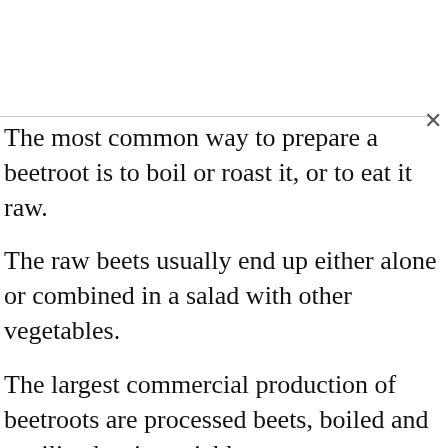The most common way to prepare a beetroot is to boil or roast it, or to eat it raw.
The raw beets usually end up either alone or combined in a salad with other vegetables.
The largest commercial production of beetroots are processed beets, boiled and sterilized or into pickles.
The green leaves that grow above ground are called beet greens. The beet greens are also edible. The young leaves can be added to salads, while the mature leaves